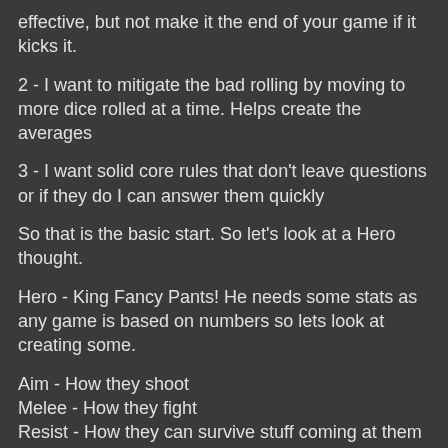effective, but not make it the end of your game if it kicks it.
2 - I want to mitigate the bad rolling by moving to more dice rolled at a time. Helps create the averages
3 - I want solid core rules that don't leave questions or if they do I can answer them quickly
So that is the basic start. So let's look at a Hero thought.
Hero - King Fancy Pants! He needs some stats as any game is based on numbers so lets look at creating some.
Aim - How they shoot
Melee - How they fight
Resist - How they can survive stuff coming at them - some kind of option to ignore or lessen damage
Health - How much they can take
Armor - How much can be ignored before they take health damage
Move - How fast are you
Simple and easy - a small range of stats means you can utilize Universal Rules to try and create new avenues of